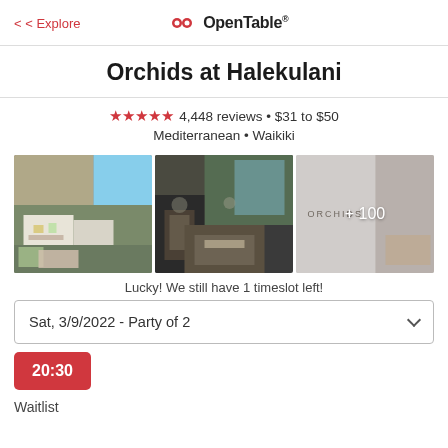< Explore  •OpenTable®
Orchids at Halekulani
★★★★★ 4,448 reviews • $31 to $50
Mediterranean • Waikiki
[Figure (photo): Three restaurant photos: dining room with ocean view, interior dining area, and Orchids sign with +100 overlay]
Lucky! We still have 1 timeslot left!
Sat, 3/9/2022 - Party of 2
20:30
Waitlist